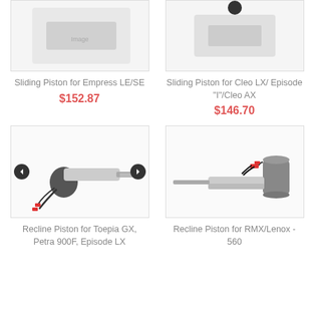[Figure (photo): Sliding Piston for Empress LE/SE product image (partial, top cropped)]
[Figure (photo): Sliding Piston for Cleo LX/Episode I/Cleo AX product image (partial, top cropped)]
Sliding Piston for Empress LE/SE
Sliding Piston for Cleo LX/ Episode "I"/Cleo AX
$152.87
$146.70
[Figure (photo): Recline Piston for Toepia GX, Petra 900F, Episode LX product image with nav arrows]
[Figure (photo): Recline Piston for RMX/Lenox - 560 product image]
Recline Piston for Toepia GX, Petra 900F, Episode LX
Recline Piston for RMX/Lenox - 560